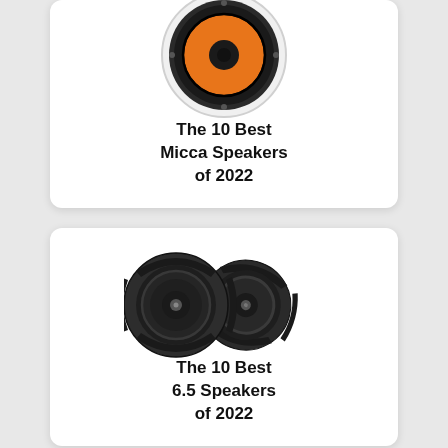[Figure (photo): Ceiling speaker with orange cone viewed from below, circular white housing]
The 10 Best Micca Speakers of 2022
[Figure (photo): Two black circular car/bookshelf speakers side by side, angled view]
The 10 Best 6.5 Speakers of 2022